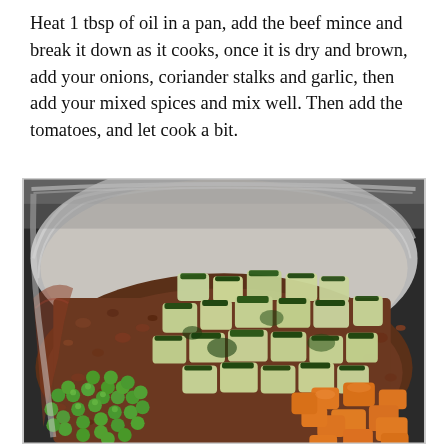Heat 1 tbsp of oil in a pan, add the beef mince and break it down as it cooks, once it is dry and brown, add your onions, coriander stalks and garlic, then add your mixed spices and mix well. Then add the tomatoes, and let cook a bit.
[Figure (photo): A large stainless steel pan or pot viewed from above, containing cooked ground beef mince with vegetables being added: chopped zucchini (courgette) in the center and upper area, green peas in the lower left, and diced carrots/orange vegetables in the lower right. The pan walls are visible with some browning from cooking.]